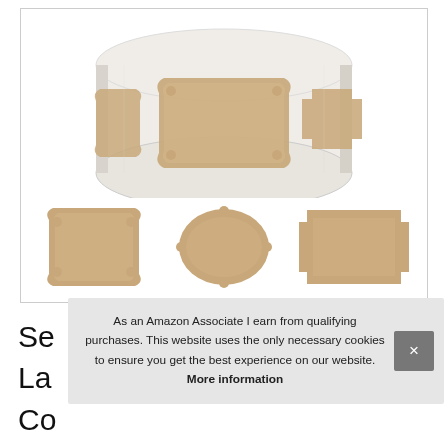[Figure (photo): A roll of kraft brown sticker labels on white backing paper, showing decorative shaped labels (scalloped/ornate frames). Below the roll are three individual sticker label shape samples: a square with ornate corners, an oval/rounded shape, and a rectangular shape with notched corners.]
Se
La
Co
As an Amazon Associate I earn from qualifying purchases. This website uses the only necessary cookies to ensure you get the best experience on our website. More information